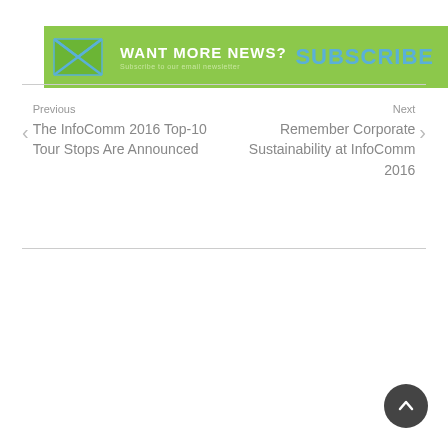[Figure (infographic): Green banner with envelope icon on left, text 'WANT MORE NEWS? Subscribe to our email newsletter' in center, and 'SUBSCRIBE' in teal bold text on right.]
Previous
The InfoComm 2016 Top-10 Tour Stops Are Announced
Next
Remember Corporate Sustainability at InfoComm 2016